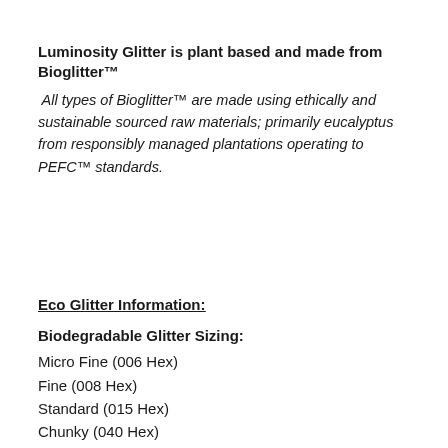Luminosity Glitter is plant based and made from Bioglitter™
All types of Bioglitter™ are made using ethically and sustainable sourced raw materials; primarily eucalyptus from responsibly managed plantations operating to PEFC™ standards.
Eco Glitter Information:
Biodegradable Glitter Sizing:
Micro Fine (006 Hex)
Fine (008 Hex)
Standard (015 Hex)
Chunky (040 Hex)